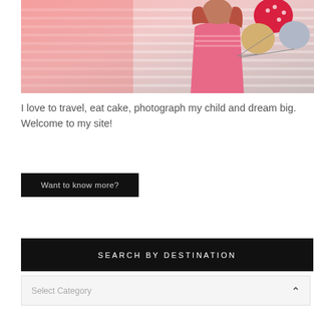[Figure (photo): Woman in pink outfit holding colorful balloons, standing in front of striped background. Photo has a pink/warm tonal overlay.]
I love to travel, eat cake, photograph my child and dream big. Welcome to my site!
Want to know more?
SEARCH BY DESTINATION
Select Category